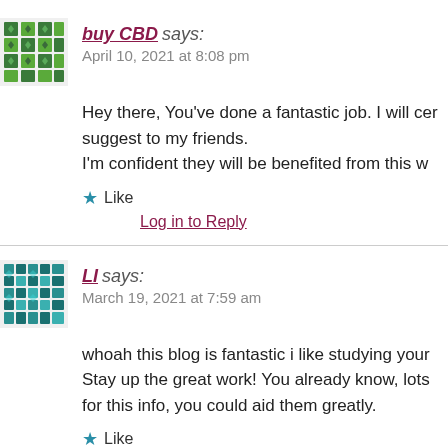[Figure (illustration): Green geometric mosaic avatar for user buy CBD]
buy CBD says:
April 10, 2021 at 8:08 pm
Hey there, You've done a fantastic job. I will certainly suggest to my friends.
I'm confident they will be benefited from this w
★ Like
Log in to Reply
[Figure (illustration): Teal geometric mosaic avatar for user LI]
LI says:
March 19, 2021 at 7:59 am
whoah this blog is fantastic i like studying your
Stay up the great work! You already know, lots
for this info, you could aid them greatly.
★ Like